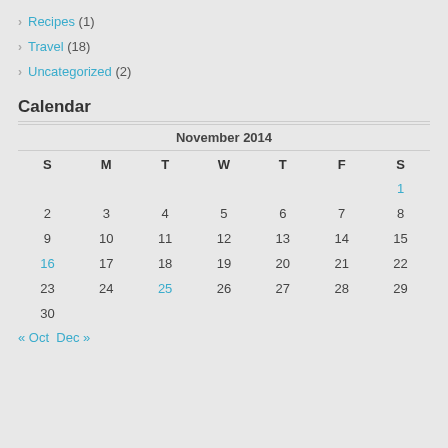Recipes (1)
Travel (18)
Uncategorized (2)
Calendar
| S | M | T | W | T | F | S |
| --- | --- | --- | --- | --- | --- | --- |
|  |  |  |  |  |  | 1 |
| 2 | 3 | 4 | 5 | 6 | 7 | 8 |
| 9 | 10 | 11 | 12 | 13 | 14 | 15 |
| 16 | 17 | 18 | 19 | 20 | 21 | 22 |
| 23 | 24 | 25 | 26 | 27 | 28 | 29 |
| 30 |  |  |  |  |  |  |
« Oct   Dec »